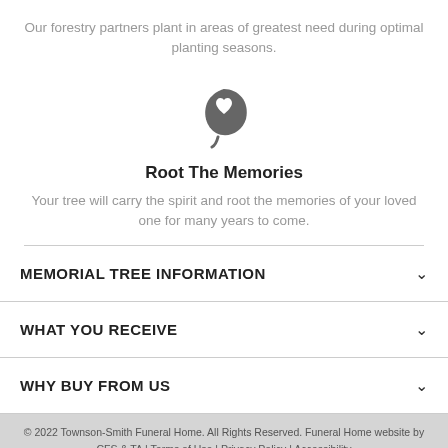Our forestry partners plant in areas of greatest need during optimal planting seasons.
[Figure (illustration): A dark gray leaf icon with a heart shape cutout in the center]
Root The Memories
Your tree will carry the spirit and root the memories of your loved one for many years to come.
MEMORIAL TREE INFORMATION
WHAT YOU RECEIVE
WHY BUY FROM US
© 2022 Townson-Smith Funeral Home. All Rights Reserved. Funeral Home website by CFS & TA | Terms of Use | Privacy Policy | Accessibility